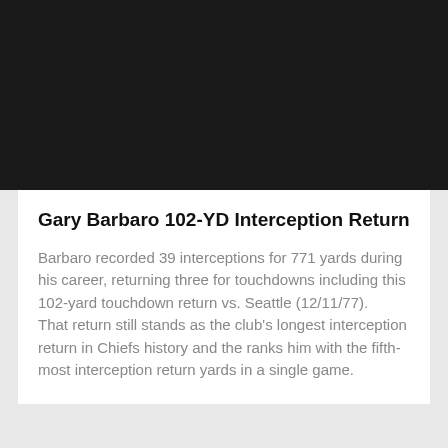[Figure (photo): Black rectangle representing a video thumbnail or image area]
Gary Barbaro 102-YD Interception Return
Barbaro recorded 39 interceptions for 771 yards during his career, returning three for touchdowns including this 102-yard touchdown return vs. Seattle (12/11/77). That return still stands as the club's longest interception return in Chiefs history and the ranks him with the fifth-most interception return yards in a single game.